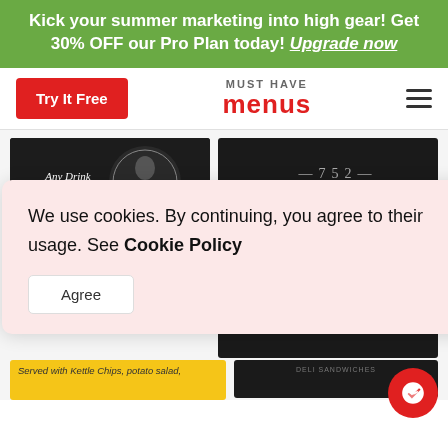Kick your summer marketing into high gear! Get 30% OFF our Pro Plan today! Upgrade now
[Figure (screenshot): Navigation bar with 'Try It Free' red button on left, 'MUST HAVE menus' logo in center, hamburger menu icon on right]
[Figure (screenshot): Charcoal Pub Half Page Menu card thumbnail with PRO badge]
Charcoal Pub Half Page Menu
[Figure (screenshot): 752 Pine restaurant menu card thumbnail, partially visible]
We use cookies. By continuing, you agree to their usage. See Cookie Policy
Agree